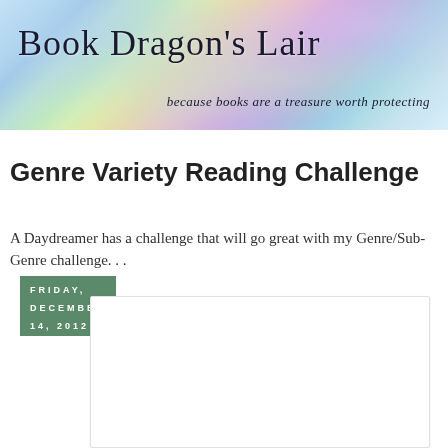[Figure (illustration): Blog header banner with colorful watercolor-style background in pastel blues, greens, purples and pinks. Contains the blog title 'Book Dragon's Lair' in large serif font on the left, and the tagline 'because books are a treasure worth protecting' in italic serif font on the lower right.]
Friday, December 14, 2012
Genre Variety Reading Challenge
A Daydreamer has a challenge that will go great with my Genre/Sub-Genre challenge. . .
[Figure (screenshot): White empty content box with light border, representing an embedded image or widget placeholder.]